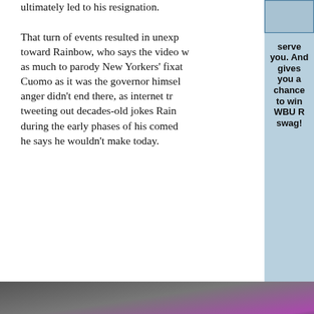ultimately led to his resignation.
That turn of events resulted in unexpected anger toward Rainbow, who says the video was meant as much to parody New Yorkers' fixation on Cuomo as it was the governor himself. But the anger didn't end there, as internet trolls started tweeting out decades-old jokes Rainbow made during the early phases of his comedy career that he says he wouldn't make today.
serve you. And gives you a chance to win WBUR swag!
[Figure (photo): Photo strip showing two people, one with dark hair and one with purple/pink hair]
LISTEN LIVE Marketplace